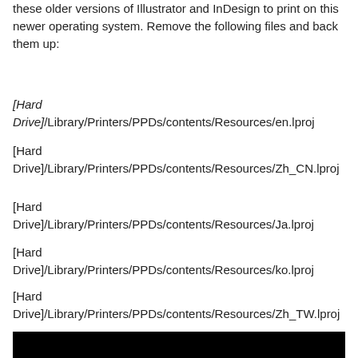these older versions of Illustrator and InDesign to print on this newer operating system. Remove the following files and back them up:
[Hard Drive]/Library/Printers/PPDs/contents/Resources/en.lproj
[Hard Drive]/Library/Printers/PPDs/contents/Resources/Zh_CN.lproj
[Hard Drive]/Library/Printers/PPDs/contents/Resources/Ja.lproj
[Hard Drive]/Library/Printers/PPDs/contents/Resources/ko.lproj
[Hard Drive]/Library/Printers/PPDs/contents/Resources/Zh_TW.lproj
[Figure (photo): Black image/screenshot area at the bottom of the page]